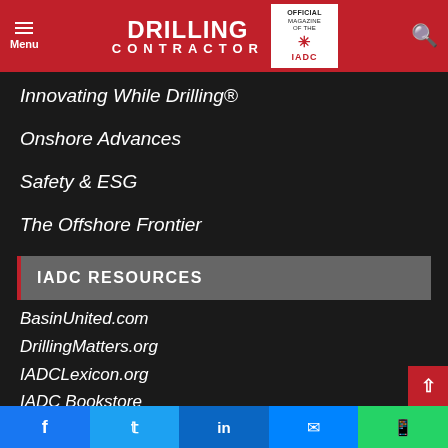Drilling Contractor — Official Magazine of the IADC
Innovating While Drilling®
Onshore Advances
Safety & ESG
The Offshore Frontier
IADC RESOURCES
BasinUnited.com
DrillingMatters.org
IADCLexicon.org
IADC Bookstore
IADC Membership Directory
Facebook | Twitter | LinkedIn | Messenger | WhatsApp